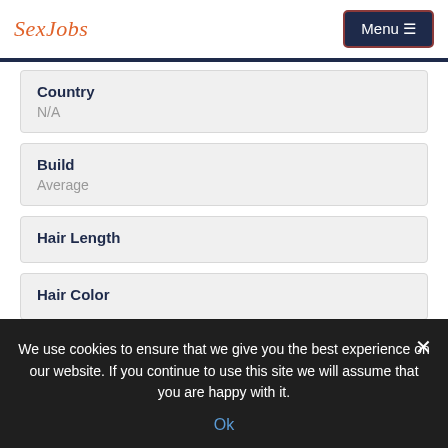SexJobs  Menu
Country
N/A
Build
Average
Hair Length
Hair Color
We use cookies to ensure that we give you the best experience on our website. If you continue to use this site we will assume that you are happy with it.
Ok